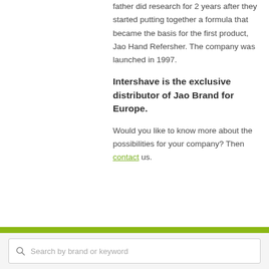father did research for 2 years after they started putting together a formula that became the basis for the first product, Jao Hand Refersher. The company was launched in 1997.
Intershave is the exclusive distributor of Jao Brand for Europe.
Would you like to know more about the possibilities for your company? Then contact us.
Search by brand or keyword